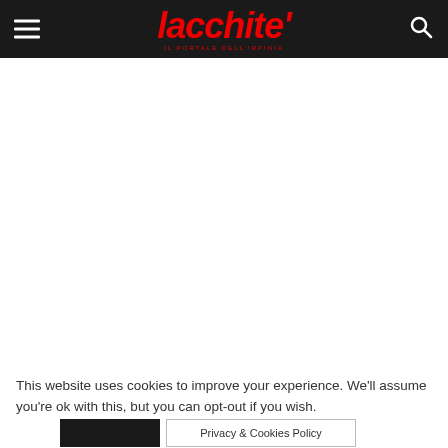lacchite'
This website uses cookies to improve your experience. We'll assume you're ok with this, but you can opt-out if you wish.
Privacy & Cookies Policy